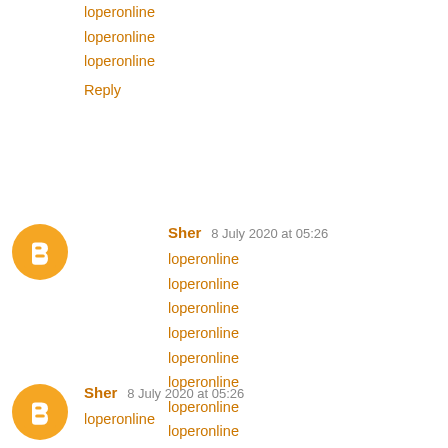loperonline
loperonline
loperonline
Reply
Sher 8 July 2020 at 05:26
loperonline
loperonline
loperonline
loperonline
loperonline
loperonline
loperonline
loperonline
loperonline
Reply
Sher 8 July 2020 at 05:26
loperonline